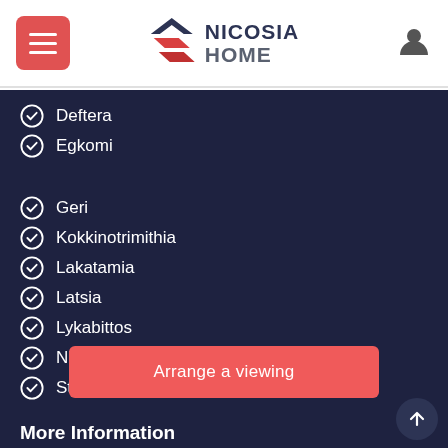[Figure (logo): Nicosia Home logo with red/dark house icon and text NICOSIA HOME]
Deftera
Egkomi
Geri
Kokkinotrimithia
Lakatamia
Latsia
Lykabittos
Nisou
Strovolos
Arrange a viewing
More Information